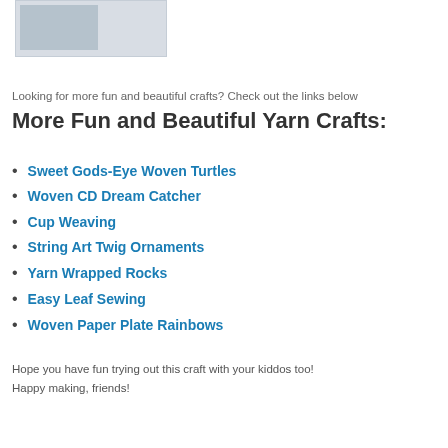[Figure (photo): Partial image of a craft project, mostly cropped, gray placeholder visible in top-left corner]
Looking for more fun and beautiful crafts? Check out the links below
More Fun and Beautiful Yarn Crafts:
Sweet Gods-Eye Woven Turtles
Woven CD Dream Catcher
Cup Weaving
String Art Twig Ornaments
Yarn Wrapped Rocks
Easy Leaf Sewing
Woven Paper Plate Rainbows
Hope you have fun trying out this craft with your kiddos too! Happy making, friends!